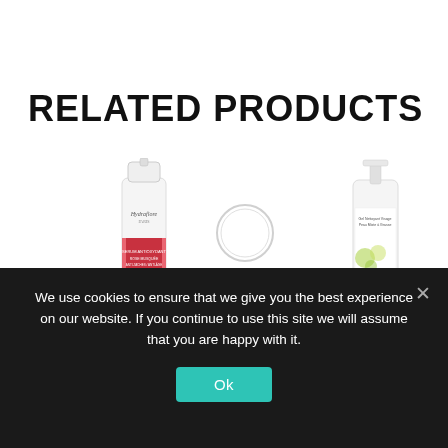RELATED PRODUCTS
[Figure (photo): Left product: a white pump/serum bottle with Hydraflore Paris branding and pink floral label with organic certification badge. Reflection visible below.]
[Figure (photo): Center product: a faint circular/round shape, likely a white lid or cap of a product, partially visible.]
[Figure (photo): Right product: a white pump bottle with contrelle+ branding, green circular design elements on label.]
We use cookies to ensure that we give you the best experience on our website. If you continue to use this site we will assume that you are happy with it.
Ok